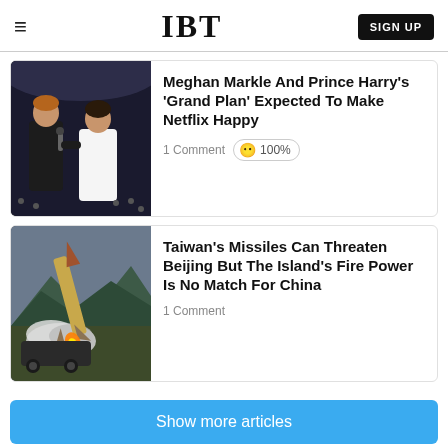IBT | SIGN UP
[Figure (screenshot): IBT news website header with hamburger menu, IBT logo, and Sign Up button]
Meghan Markle And Prince Harry's 'Grand Plan' Expected To Make Netflix Happy
1 Comment   😶 100%
[Figure (photo): Photo of Meghan Markle and Prince Harry together at an event]
Taiwan's Missiles Can Threaten Beijing But The Island's Fire Power Is No Match For China
1 Comment
[Figure (photo): Photo of a missile launching with smoke trail against a mountainous background]
Show more articles
Add Vuukle   Privacy   Vuukle